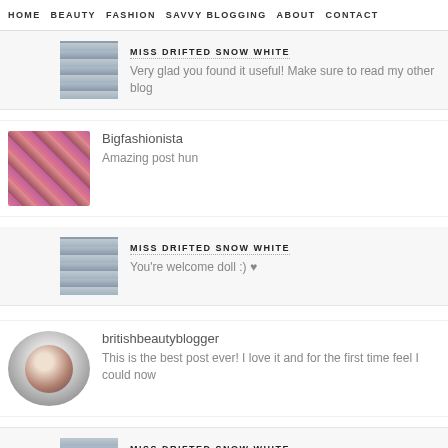HOME  BEAUTY  FASHION  SAVVY BLOGGING  ABOUT  CONTACT
MISS DRIFTED SNOW WHITE
Very glad you found it useful! Make sure to read my other blog
Bigfashionista
Amazing post hun
MISS DRIFTED SNOW WHITE
You're welcome doll :) ♥
britishbeautyblogger
This is the best post ever! I love it and for the first time feel I could now
MISS DRIFTED SNOW WHITE